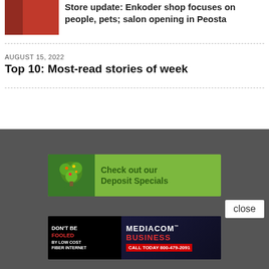[Figure (photo): Thumbnail image of article about Enkoder shop]
Store update: Enkoder shop focuses on people, pets; salon opening in Peosta
AUGUST 15, 2022
Top 10: Most-read stories of week
[Figure (advertisement): Green banner ad: Check out our Deposit Specials, with tree illustration]
close
[Figure (advertisement): Mediacom Business ad: Don't Be Fooled By Low Cost Fiber Internet. Call Today 800-479-2091]